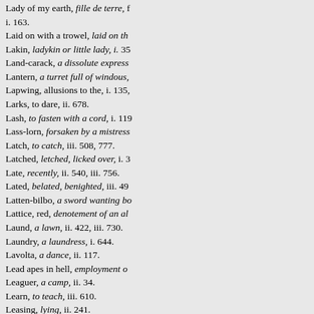Lady of my earth, fille de terre, [cut off]
i. 163.
Laid on with a trowel, laid on th[cut off]
Lakin, ladykin or little lady, i. 35[cut off]
Land-carack, a dissolute express[cut off]
Lantern, a turret full of windous,[cut off]
Lapwing, allusions to the, i. 135[cut off]
Larks, to dare, ii. 678.
Lash, to fasten with a cord, i. 119[cut off]
Lass-lorn, forsaken by a mistress[cut off]
Latch, to catch, iii. 508, 777.
Latched, letched, licked over, i. 3[cut off]
Late, recently, ii. 540, iii. 756.
Lated, belated, benighted, iii. 49[cut off]
Latten-bilbo, a sword wanting bo[cut off]
Lattice, red, denotement of an al[cut off]
Laund, a lawn, ii. 422, iii. 730.
Laundry, a laundress, i. 644.
Lavolta, a dance, ii. 117.
Lead apes in hell, employment o[cut off]
Leaguer, a camp, ii. 34.
Learn, to teach, iii. 610.
Leasing, lying, ii. 241.
Leather-coat, a kind of apple, [cut off]